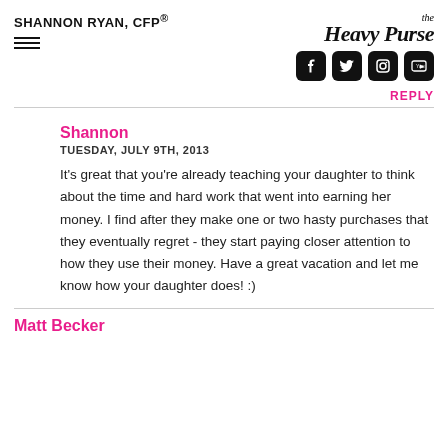SHANNON RYAN, CFP®
[Figure (logo): The Heavy Purse logo with social media icons for Facebook, Twitter, Instagram, and YouTube]
REPLY
Shannon
TUESDAY, JULY 9TH, 2013
It's great that you're already teaching your daughter to think about the time and hard work that went into earning her money. I find after they make one or two hasty purchases that they eventually regret - they start paying closer attention to how they use their money. Have a great vacation and let me know how your daughter does! :)
Matt Becker